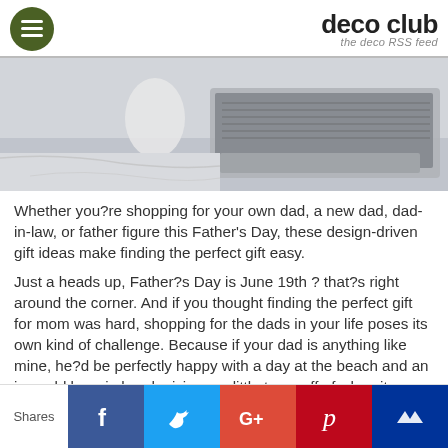deco club — the deco RSS feed
[Figure (photo): A marble surface with a laptop and what appears to be someone pouring or placing something near the laptop]
Whether you?re shopping for your own dad, a new dad, dad-in-law, or father figure this Father's Day, these design-driven gift ideas make finding the perfect gift easy.
Just a heads up, Father?s Day is June 19th ? that?s right around the corner. And if you thought finding the perfect gift for mom was hard, shopping for the dads in your life poses its own kind of challenge. Because if your dad is anything like mine, he?d be perfectly happy with a day at the beach and an ice-cold beer in hand, giving me little to go off of when it comes to finding an actual gift. That?s where we come in. We think the best Father?s Day gifts are equal parts
Shares | Facebook | Twitter | Google+ | Pinterest | Other